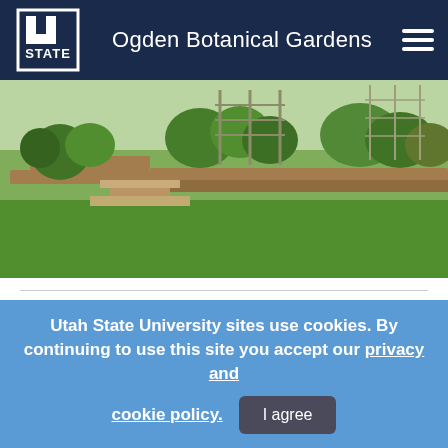Ogden Botanical Gardens
[Figure (photo): Outdoor botanical garden with raised wooden garden beds filled with lush green plants, shrubs, and climbing vines on trellises; green lawn in the foreground.]
Utah State University sites use cookies. By continuing to use this site you accept our privacy and cookie policy. I agree